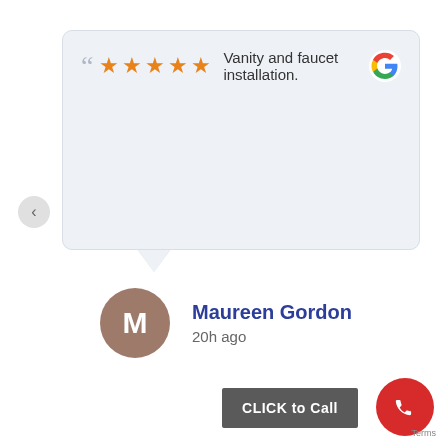[Figure (screenshot): Google review card with 5 orange stars and quote marks showing review text 'Vanity and faucet installation.' with Google G logo in top right corner]
Vanity and faucet installation.
Maureen Gordon
20h ago
CLICK to Call